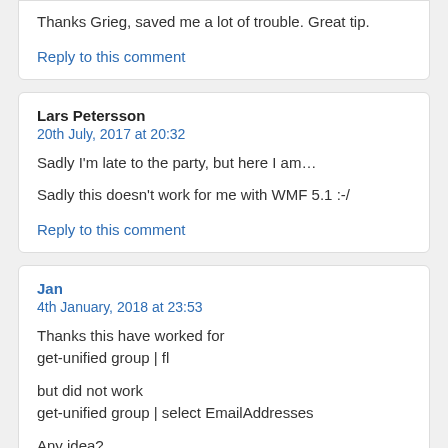Thanks Grieg, saved me a lot of trouble. Great tip.
Reply to this comment
Lars Petersson
20th July, 2017 at 20:32
Sadly I'm late to the party, but here I am…

Sadly this doesn't work for me with WMF 5.1 :-/
Reply to this comment
Jan
4th January, 2018 at 23:53
Thanks this have worked for
get-unified group | fl

but did not work
get-unified group | select EmailAddresses

Any idea?